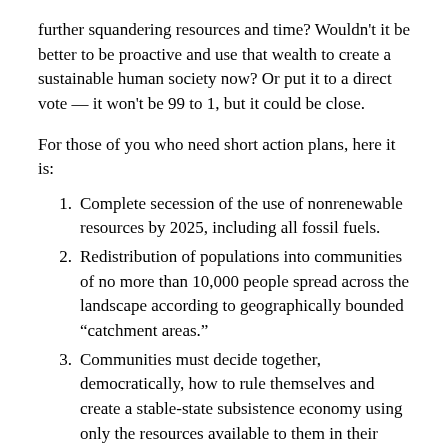further squandering resources and time? Wouldn't it be better to be proactive and use that wealth to create a sustainable human society now? Or put it to a direct vote — it won't be 99 to 1, but it could be close.
For those of you who need short action plans, here it is:
Complete secession of the use of nonrenewable resources by 2025, including all fossil fuels.
Redistribution of populations into communities of no more than 10,000 people spread across the landscape according to geographically bounded “catchment areas.”
Communities must decide together, democratically, how to rule themselves and create a stable-state subsistence economy using only the resources available to them in their catchment areas.